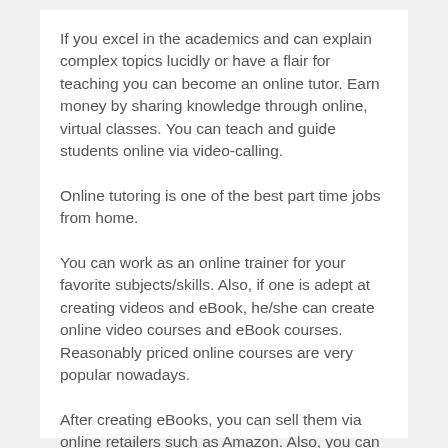If you excel in the academics and can explain complex topics lucidly or have a flair for teaching you can become an online tutor. Earn money by sharing knowledge through online, virtual classes. You can teach and guide students online via video-calling.
Online tutoring is one of the best part time jobs from home.
You can work as an online trainer for your favorite subjects/skills. Also, if one is adept at creating videos and eBook, he/she can create online video courses and eBook courses. Reasonably priced online courses are very popular nowadays.
After creating eBooks, you can sell them via online retailers such as Amazon. Also, you can sell your courses, eBooks, and videos via your website.
6) Content Writing